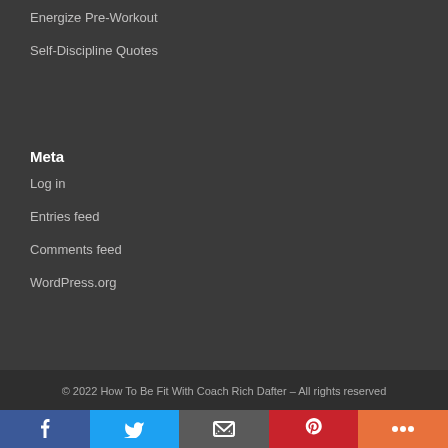Energize Pre-Workout
Self-Discipline Quotes
Meta
Log in
Entries feed
Comments feed
WordPress.org
© 2022 How To Be Fit With Coach Rich Dafter – All rights reserved
[Figure (infographic): Social sharing buttons row: Facebook (blue), Twitter (light blue), Email (gray), Pinterest (red), More (orange)]